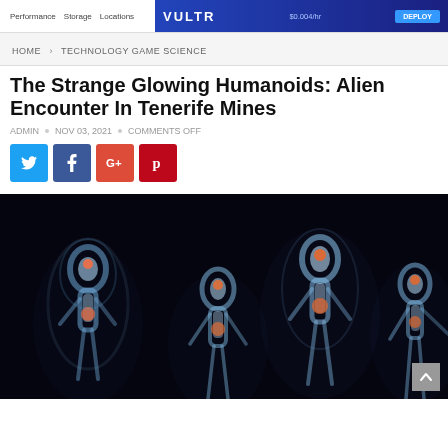Performance  Storage  Locations  VULTR  $0.004/hr  DEPLOY
HOME > TECHNOLOGY GAME SCIENCE
The Strange Glowing Humanoids: Alien Encounter In Tenerife Mines
ADMIN  •  NOV 03, 2021  •  COMMENTS OFF
[Figure (infographic): Four social share buttons: Twitter (blue), Facebook (dark blue), Google+ (red-orange), Pinterest (red)]
[Figure (photo): Dark image showing four glowing humanoid figures with blue-white auras and orange-red energy centers at their heads and chests, against a black background]